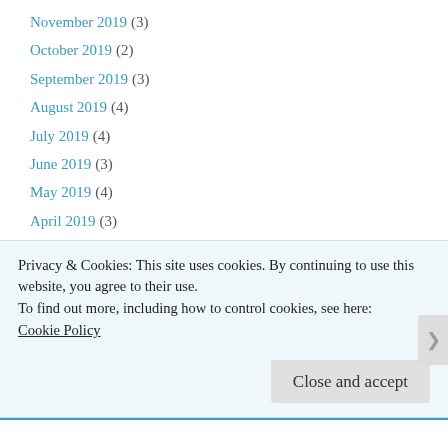November 2019 (3)
October 2019 (2)
September 2019 (3)
August 2019 (4)
July 2019 (4)
June 2019 (3)
May 2019 (4)
April 2019 (3)
March 2019 (2)
February 2019 (2)
January 2019 (4)
December 2018 (4)
November 2018 (2)
October 2018 (3)
Privacy & Cookies: This site uses cookies. By continuing to use this website, you agree to their use.
To find out more, including how to control cookies, see here: Cookie Policy
Close and accept